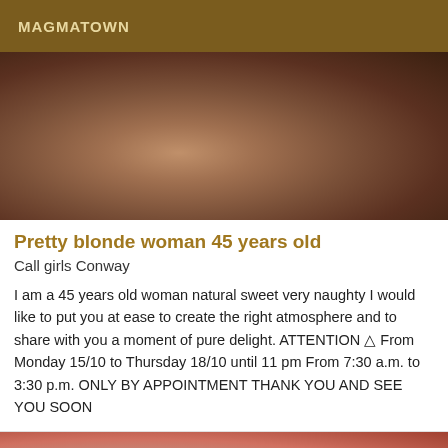MAGMATOWN
[Figure (photo): Close-up partial body photo with dark/warm tones]
Pretty blonde woman 45 years old
Call girls Conway
I am a 45 years old woman natural sweet very naughty I would like to put you at ease to create the right atmosphere and to share with you a moment of pure delight. ATTENTION ⚠ From Monday 15/10 to Thursday 18/10 until 11 pm From 7:30 a.m. to 3:30 p.m. ONLY BY APPOINTMENT THANK YOU AND SEE YOU SOON
[Figure (photo): Partial photo in red with VIP badge]